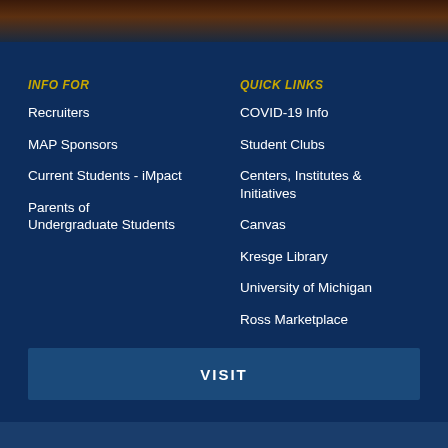[Figure (photo): Decorative photo strip at top of page showing a dark reddish-brown architectural scene]
INFO FOR
Recruiters
MAP Sponsors
Current Students - iMpact
Parents of Undergraduate Students
QUICK LINKS
COVID-19 Info
Student Clubs
Centers, Institutes & Initiatives
Canvas
Kresge Library
University of Michigan
Ross Marketplace
VISIT